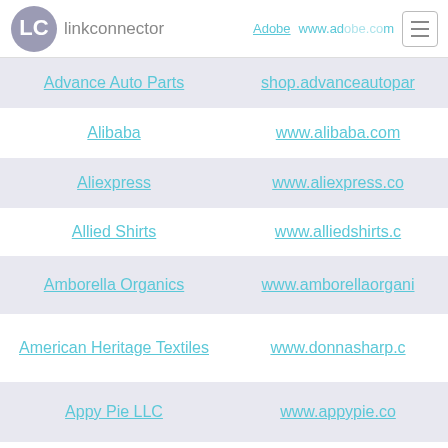linkconnector | Adobe | www.adobe.com
Advance Auto Parts | shop.advanceautoparts.com
Alibaba | www.alibaba.com
Aliexpress | www.aliexpress.com
Allied Shirts | www.alliedshirts.com
Amborella Organics | www.amborellaorganics.com
American Heritage Textiles | www.donnasharp.com
Appy Pie LLC | www.appypie.com